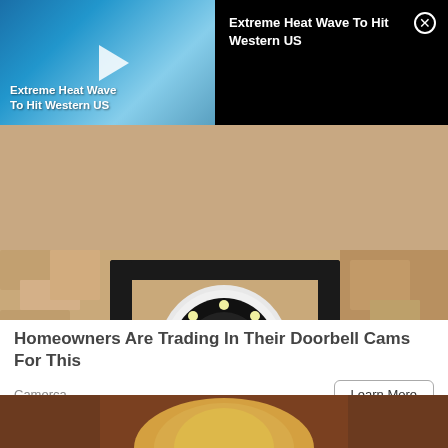[Figure (screenshot): Video thumbnail showing blue sky with text 'Extreme Heat Wave To Hit Western US' and play button]
Extreme Heat Wave To Hit Western US
[Figure (photo): Close-up photo of a person installing a white security camera with LED ring on a textured stucco wall, held in place with a black metal bracket]
Homeowners Are Trading In Their Doorbell Cams For This
Camerca
Learn More
[Figure (photo): Partial photo of a blonde woman against a brown background]